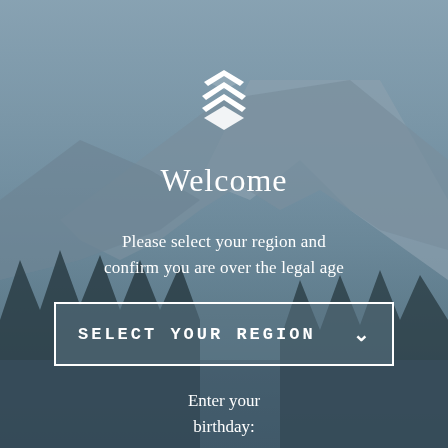[Figure (logo): White stylized chevron/shield logo made of stacked angular shapes]
Welcome
Please select your region and confirm you are over the legal age
SELECT YOUR REGION
Enter your birthday: